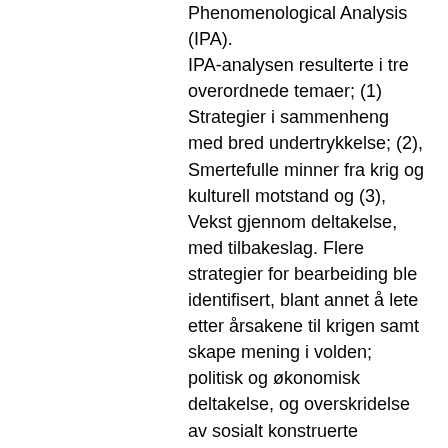Phenomenological Analysis (IPA). IPA-analysen resulterte i tre overordnede temaer; (1) Strategier i sammenheng med bred undertrykkelse; (2), Smertefulle minner fra krig og kulturell motstand og (3), Vekst gjennom deltakelse, med tilbakeslag. Flere strategier for bearbeiding ble identifisert, blant annet å lete etter årsakene til krigen samt skape mening i volden; politisk og økonomisk deltakelse, og overskridelse av sosialt konstruerte kjønnsroller, og styrking av kulturelle identitet. Strategiene kvinnene brukte var knyttet til deres sosialt konstruerte kjønnsroller, og deres etnisk-politiske gruppetilhørighet. Kvinnene uttrykte vekst i flere av PTGIs (Tedeschi & Calhoun, 2004) domener, men har likevel